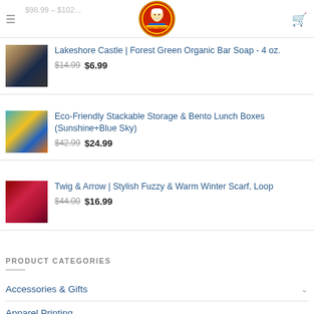$98.99 – $102... [logo] [menu] [cart]
[Figure (photo): Product image for Lakeshore Castle Forest Green Organic Bar Soap]
Lakeshore Castle | Forest Green Organic Bar Soap - 4 oz. $14.99 $6.99
[Figure (photo): Product image for Eco-Friendly Stackable Storage & Bento Lunch Boxes]
Eco-Friendly Stackable Storage & Bento Lunch Boxes (Sunshine+Blue Sky) $42.99 $24.99
[Figure (photo): Product image for Twig & Arrow Stylish Fuzzy & Warm Winter Scarf Loop]
Twig & Arrow | Stylish Fuzzy & Warm Winter Scarf, Loop $44.00 $16.99
PRODUCT CATEGORIES
Accessories & Gifts
Apparel Printing